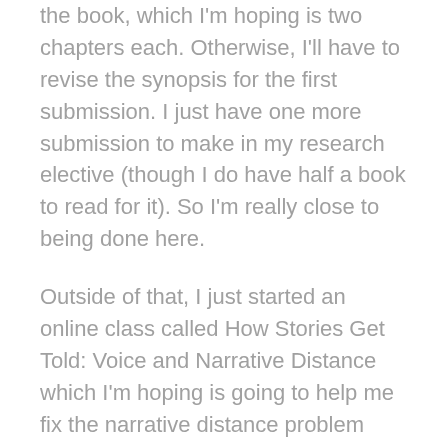the book, which I'm hoping is two chapters each. Otherwise, I'll have to revise the synopsis for the first submission. I just have one more submission to make in my research elective (though I do have half a book to read for it). So I'm really close to being done here.
Outside of that, I just started an online class called How Stories Get Told: Voice and Narrative Distance which I'm hoping is going to help me fix the narrative distance problem Ugly has. Because I think that's the problem. We're so buried in her head we can't see the rest of the world.
I'm still internally debating doing NaNoWriMo this year. This is the month I need to do the planning if I want to make it work. I would be rewriting a romance of mine. I'm also trying to figure out if I'm going to cheat if I do decide to go for it. I already